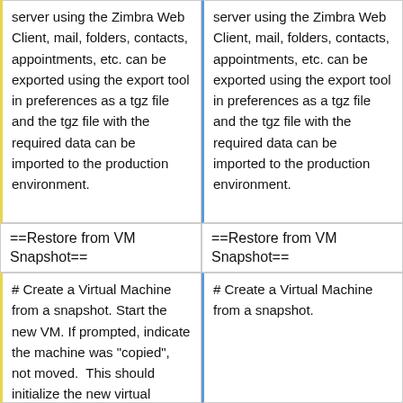server using the Zimbra Web Client, mail, folders, contacts, appointments, etc. can be exported using the export tool in preferences as a tgz file and the tgz file with the required data can be imported to the production environment.
server using the Zimbra Web Client, mail, folders, contacts, appointments, etc. can be exported using the export tool in preferences as a tgz file and the tgz file with the required data can be imported to the production environment.
==Restore from VM Snapshot==
==Restore from VM Snapshot==
# Create a Virtual Machine from a snapshot. Start the new VM. If prompted, indicate the machine was "copied", not moved.  This should initialize the new virtual server network
# Create a Virtual Machine from a snapshot.